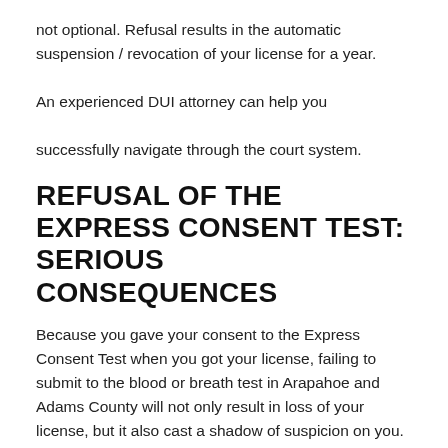not optional. Refusal results in the automatic suspension / revocation of your license for a year.

An experienced DUI attorney can help you

successfully navigate through the court system.
REFUSAL OF THE EXPRESS CONSENT TEST: SERIOUS CONSEQUENCES
Because you gave your consent to the Express Consent Test when you got your license, failing to submit to the blood or breath test in Arapahoe and Adams County will not only result in loss of your license, but it also cast a shadow of suspicion on you. The District Attorney will assume that you are guilty because of your refusal. This assumption will be used against you in court at any later jury trial and in the DMV Administrative Hearing.